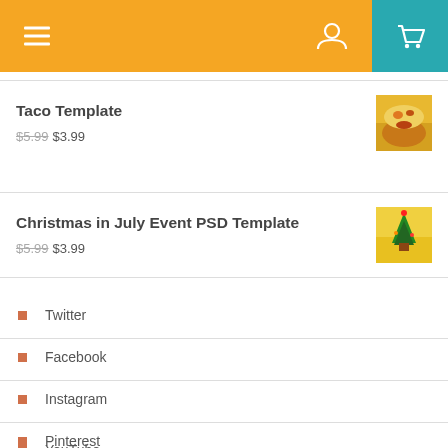Navigation header with menu, user, and cart icons
Taco Template
$5.99 $3.99
Christmas in July Event PSD Template
$5.99 $3.99
Twitter
Facebook
Instagram
Pinterest
YouTube